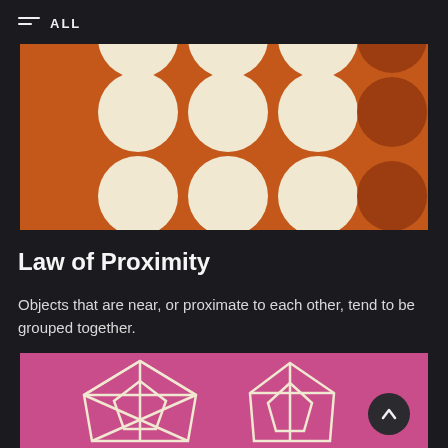ALL
[Figure (illustration): Orange background card with a 3x3 grid of cream/off-white circles on the left side and 2 darker brown circles on the right side, demonstrating proximity grouping]
Law of Proximity
Objects that are near, or proximate to each other, tend to be grouped together.
[Figure (illustration): Pink/magenta background card showing geometric diamond/gem wireframe shapes in cream/off-white color, partially visible at bottom]